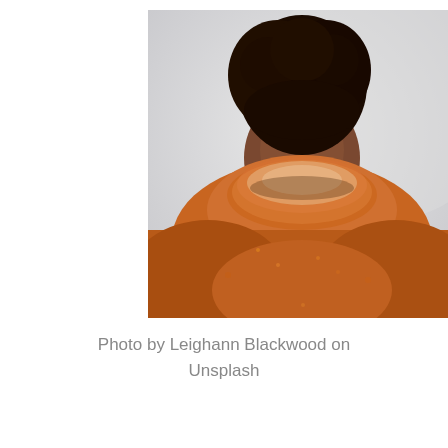[Figure (photo): Portrait photo of a young Black woman with natural hair pulled up, wearing a fuzzy orange/rust-colored turtleneck sweater pulled up over her nose and mouth, looking upward. Light grey/white background.]
Photo by Leighann Blackwood on Unsplash